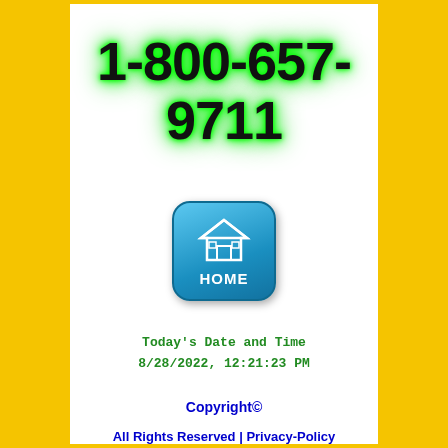1-800-657-9711
[Figure (illustration): Blue rounded square HOME button with a house icon and HOME label in white text]
Today's Date and Time
8/28/2022, 12:21:23 PM
Copyright©
All Rights Reserved | Privacy-Policy